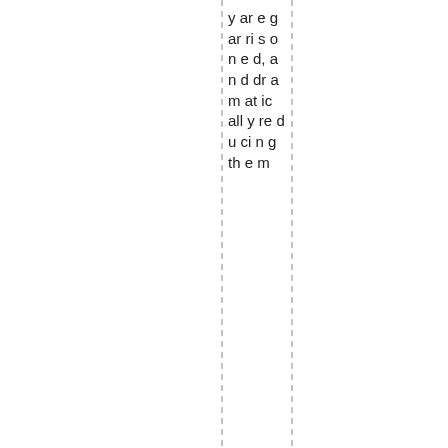y ar e g ar ri s o n e d, a n d dr a m at ic all y re d u ci n g th e m